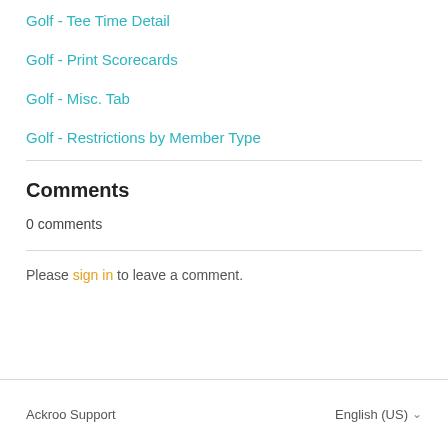Golf - Tee Time Detail
Golf - Print Scorecards
Golf - Misc. Tab
Golf - Restrictions by Member Type
Comments
0 comments
Please sign in to leave a comment.
Ackroo Support   English (US)